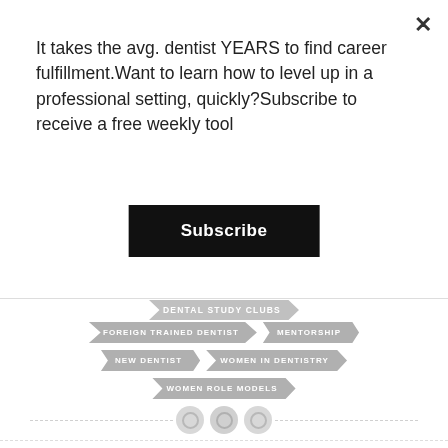It takes the avg. dentist YEARS to find career fulfillment.Want to learn how to level up in a professional setting, quickly?Subscribe to receive a free weekly tool
Subscribe
DENTAL STUDY CLUBS
FOREIGN TRAINED DENTIST
MENTORSHIP
NEW DENTIST
WOMEN IN DENTISTRY
WOMEN ROLE MODELS
PREVIOUS POST
Keen Sharp